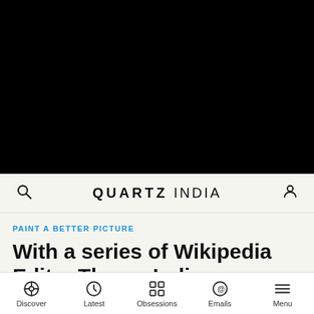[Figure (photo): Black image area at top of page (video or photo placeholder)]
QUARTZ INDIA
PAINT A BETTER PICTURE
With a series of Wikipedia Edit-a-Thons, Indian women are finally
Discover  Latest  Obsessions  Emails  Menu